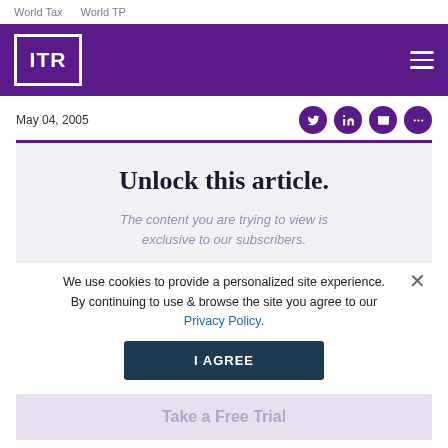World Tax   World TP
[Figure (logo): ITR logo in white on purple background with square border]
May 04, 2005
Unlock this article.
The content you are trying to view is exclusive to our subscribers.
We use cookies to provide a personalized site experience. By continuing to use & browse the site you agree to our Privacy Policy.
I AGREE
Take a Free Trial